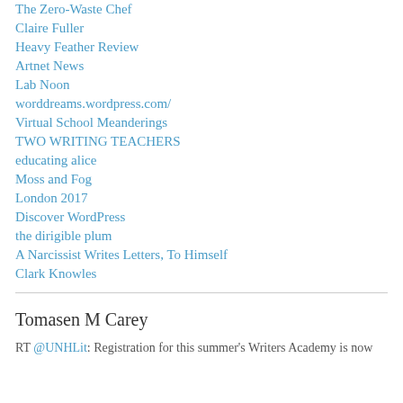The Zero-Waste Chef
Claire Fuller
Heavy Feather Review
Artnet News
Lab Noon
worddreams.wordpress.com/
Virtual School Meanderings
TWO WRITING TEACHERS
educating alice
Moss and Fog
London 2017
Discover WordPress
the dirigible plum
A Narcissist Writes Letters, To Himself
Clark Knowles
Tomasen M Carey
RT @UNHLit: Registration for this summer's Writers Academy is now